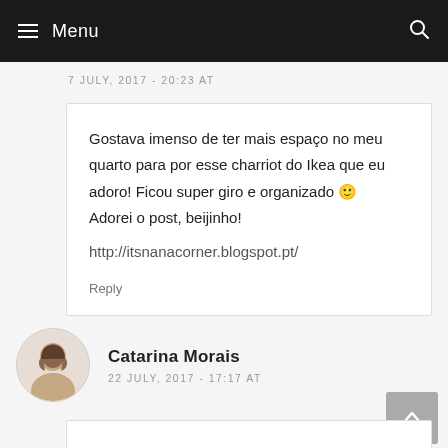Menu
7 JULY, 2017 - 20:23 AT
Gostava imenso de ter mais espaço no meu quarto para por esse charriot do Ikea que eu adoro! Ficou super giro e organizado 🙂 Adorei o post, beijinho!
http://itsnanacorner.blogspot.pt/
Reply
Catarina Morais
22 JULY, 2017 - 17:17 AT